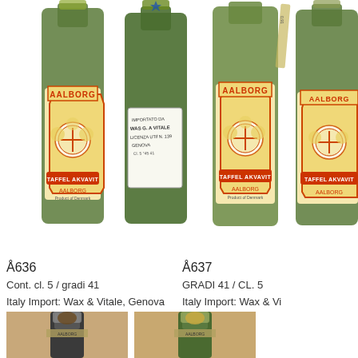[Figure (photo): Two green Aalborg Taffel Akvavit miniature bottles side by side, left bottle has orange label reading AALBORG TAFFEL AKVAVIT, middle bottle has a white Italian import sticker from Wax & Vitale Genova, both dark green glass]
[Figure (photo): Two more Aalborg Taffel Akvavit bottles, right side, one with full visible label showing AALBORG TAFFEL AKVAVIT AALBORG Product of Denmark, one partially cropped at right edge]
Å636
Cont. cl. 5  /  gradi 41
Italy Import: Wax & Vitale, Genova
Å637
GRADI 41  /  CL. 5
Italy Import: Wax & Vi
[Figure (photo): Close-up of bottle top/capsule area of Å636 bottle showing foil cap and cork]
[Figure (photo): Close-up of bottle top/capsule area of another bottle showing foil cap and cork, slightly different color]